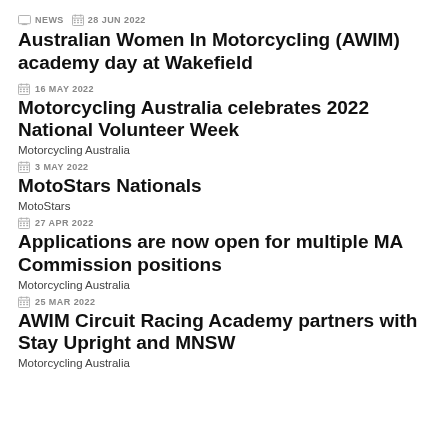NEWS  28 JUN 2022
Australian Women In Motorcycling (AWIM) academy day at Wakefield
16 MAY 2022
Motorcycling Australia celebrates 2022 National Volunteer Week
Motorcycling Australia
3 MAY 2022
MotoStars Nationals
MotoStars
27 APR 2022
Applications are now open for multiple MA Commission positions
Motorcycling Australia
25 MAR 2022
AWIM Circuit Racing Academy partners with Stay Upright and MNSW
Motorcycling Australia